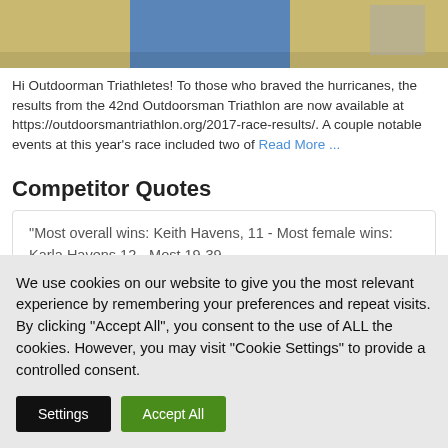[Figure (photo): Partial view of people wearing yellow and blue clothing, cropped at top of page]
Hi Outdoorman Triathletes! To those who braved the hurricanes, the results from the 42nd Outdoorsman Triathlon are now available at https://outdoorsmantriathlon.org/2017-race-results/. A couple notable events at this year's race included two of Read More ...
Competitor Quotes
"Most overall wins: Keith Havens, 11 - Most female wins: Karla Havens 12 - Most 19-39
We use cookies on our website to give you the most relevant experience by remembering your preferences and repeat visits. By clicking “Accept All”, you consent to the use of ALL the cookies. However, you may visit “Cookie Settings” to provide a controlled consent.
Settings
Accept All